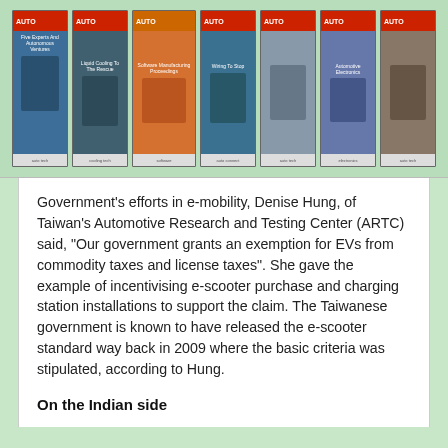[Figure (illustration): A horizontal strip of seven AUTO magazine covers with colorful imagery including liquid cooling, electronics, and automotive topics]
Government's efforts in e-mobility, Denise Hung, of Taiwan's Automotive Research and Testing Center (ARTC) said, “Our government grants an exemption for EVs from commodity taxes and license taxes”. She gave the example of incentivising e-scooter purchase and charging station installations to support the claim. The Taiwanese government is known to have released the e-scooter standard way back in 2009 where the basic criteria was stipulated, according to Hung.
On the Indian side